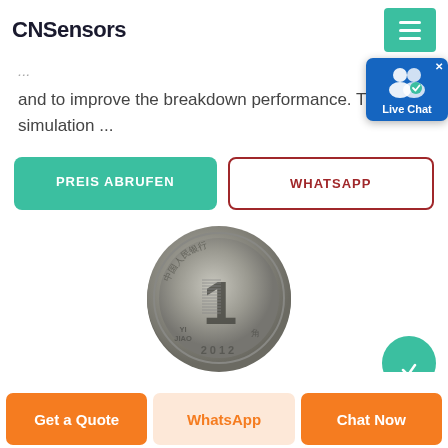CNSensors
and to improve the breakdown performance. The simulation ...
[Figure (other): Live Chat widget with user icon and blue background]
PREIS ABRUFEN
WHATSAPP
[Figure (photo): Chinese Yi Jiao coin dated 2012 showing the number 1]
Get a Quote
WhatsApp
Chat Now